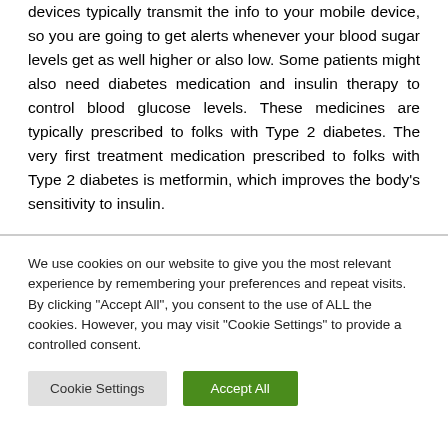devices typically transmit the info to your mobile device, so you are going to get alerts whenever your blood sugar levels get as well higher or also low. Some patients might also need diabetes medication and insulin therapy to control blood glucose levels. These medicines are typically prescribed to folks with Type 2 diabetes. The very first treatment medication prescribed to folks with Type 2 diabetes is metformin, which improves the body's sensitivity to insulin.
We use cookies on our website to give you the most relevant experience by remembering your preferences and repeat visits. By clicking "Accept All", you consent to the use of ALL the cookies. However, you may visit "Cookie Settings" to provide a controlled consent.
Cookie Settings | Accept All